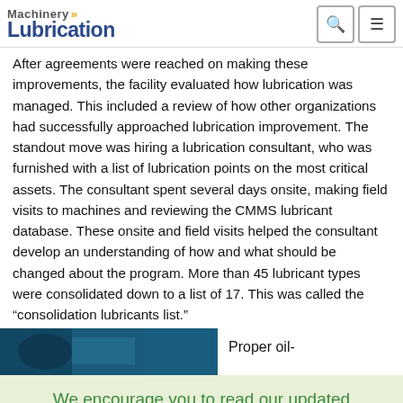Machinery Lubrication
After agreements were reached on making these improvements, the facility evaluated how lubrication was managed. This included a review of how other organizations had successfully approached lubrication improvement. The standout move was hiring a lubrication consultant, who was furnished with a list of lubrication points on the most critical assets. The consultant spent several days onsite, making field visits to machines and reviewing the CMMS lubricant database. These onsite and field visits helped the consultant develop an understanding of how and what should be changed about the program. More than 45 lubricant types were consolidated down to a list of 17. This was called the “consolidation lubricants list.”
[Figure (photo): Partial photo of machinery or lubrication equipment, dark teal/blue tones]
Proper oil-
We encourage you to read our updated
Privacy Policy   Hide
[Figure (photo): Bottom strip image of machinery, brown/tan tones]